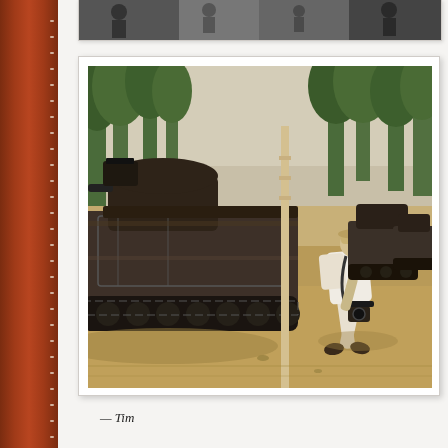[Figure (photo): Partial black and white photo strip at top, cropped, showing figures]
[Figure (photo): Color photograph of a war scene: a large military tank on a sandy street lined with trees, and a photographer running with cameras in hand past the tank; additional military vehicles visible in background]
— Tim